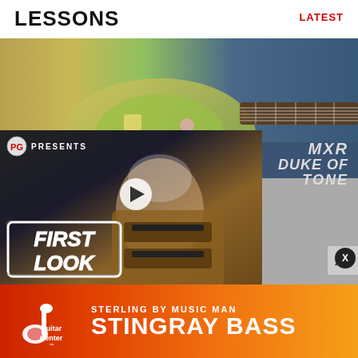LESSONS
LATEST
[Figure (screenshot): Website screenshot showing a guitar lessons page with a green electric guitar photo at top, and a video thumbnail overlay featuring 'PG PRESENTS MXR DUKE OF TONE' with 'FIRST LOOK' badge and a play button]
8 Ways to Shred Like Steve Vai
How to Cecil Moe Melodic Style
5 Steps...
How...
[Figure (advertisement): Guitar Center advertisement for Sterling by Music Man Stingray Bass on orange gradient background]